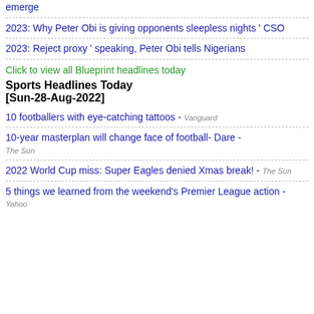emerge
2023: Why Peter Obi is giving opponents sleepless nights ' CSO
2023: Reject proxy ' speaking, Peter Obi tells Nigerians
Click to view all Blueprint headlines today
Sports Headlines Today [Sun-28-Aug-2022]
10 footballers with eye-catching tattoos - Vanguard
10-year masterplan will change face of football- Dare - The Sun
2022 World Cup miss: Super Eagles denied Xmas break! - The Sun
5 things we learned from the weekend's Premier League action - Yahoo